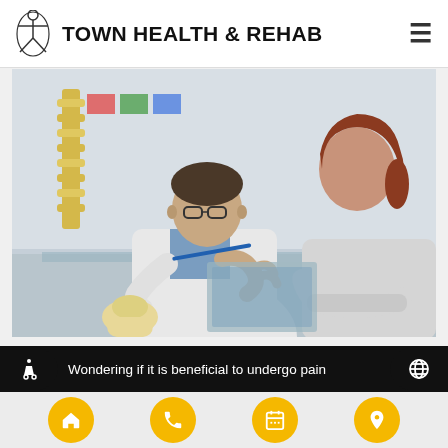Town Health & Rehab
[Figure (photo): Doctor in white lab coat holding a pelvis bone model and discussing with a female patient sitting across a desk, with a spine model visible in the background.]
Pain Management -- 3 Myths About Going To The Chiropractor For Pain
Wondering if it is beneficial to undergo pain